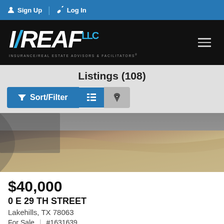Sign Up  Log In
[Figure (logo): IREAF LLC logo — Insurance/Real Estate Advisors & Facilitators, white text on black background]
Listings (108)
Sort/Filter — list view and map view toggle buttons
[Figure (photo): Aerial or ground-level photo of a dry, rocky/sandy vacant land lot]
$40,000
0 E 29 TH STREET
Lakehills, TX 78063
For Sale  |  #1631639